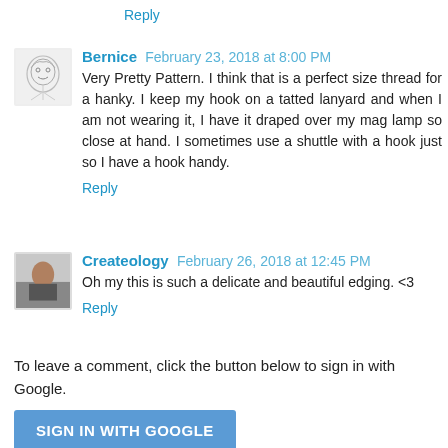Reply
Bernice  February 23, 2018 at 8:00 PM
Very Pretty Pattern. I think that is a perfect size thread for a hanky. I keep my hook on a tatted lanyard and when I am not wearing it, I have it draped over my mag lamp so close at hand. I sometimes use a shuttle with a hook just so I have a hook handy.
Reply
Createology  February 26, 2018 at 12:45 PM
Oh my this is such a delicate and beautiful edging. <3
Reply
To leave a comment, click the button below to sign in with Google.
SIGN IN WITH GOOGLE